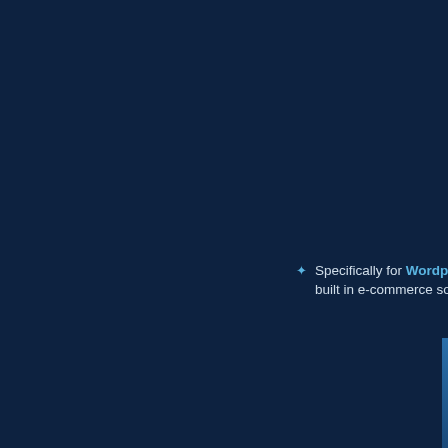Specifically for Wordpress built in e-commerce soluti